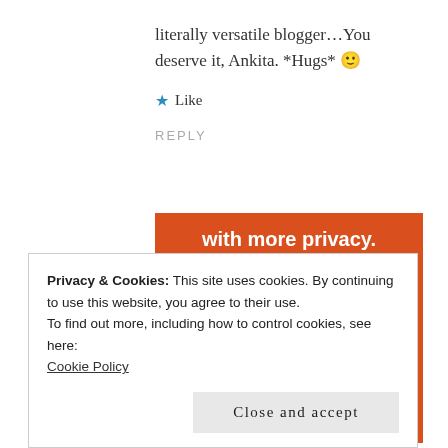literally versatile blogger…You deserve it, Ankita. *Hugs* 🙂
★ Like
REPLY
[Figure (photo): DuckDuckGo advertisement banner on orange background showing 'with more privacy. All in One Free App' text with a smartphone displaying the DuckDuckGo duck logo]
Privacy & Cookies: This site uses cookies. By continuing to use this website, you agree to their use.
To find out more, including how to control cookies, see here:
Cookie Policy
Close and accept